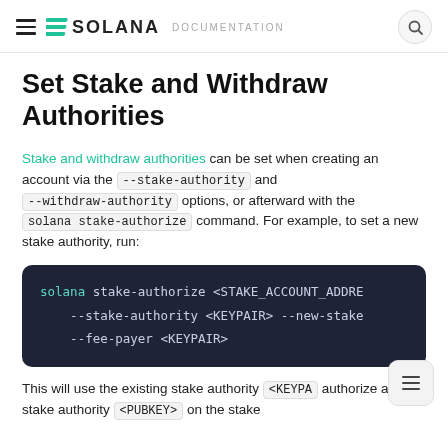≡ SOLANA DOCUMENTATION 🔍
Set Stake and Withdraw Authorities
Stake and withdraw authorities can be set when creating an account via the --stake-authority and --withdraw-authority options, or afterward with the solana stake-authorize command. For example, to set a new stake authority, run:
[Figure (screenshot): Code block showing: solana stake-authorize <STAKE_ACCOUNT_ADDRE
    --stake-authority <KEYPAIR> --new-stake
    --fee-payer <KEYPAIR>]
This will use the existing stake authority <KEYPA authorize a new stake authority <PUBKEY> on the stake